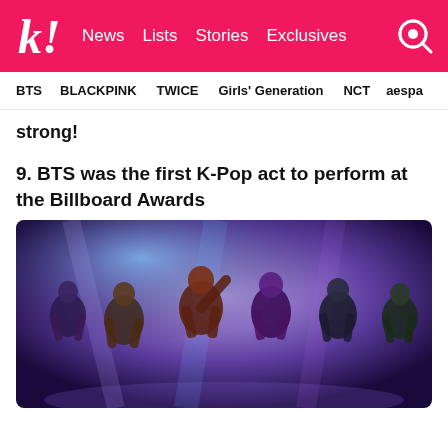k! News  Lists  Stories  Exclusives
BTS  BLACKPINK  TWICE  Girls' Generation  NCT  aespa
strong!
9. BTS was the first K-Pop act to perform at the Billboard Awards
[Figure (photo): BTS performing on stage at the Billboard Music Awards with purple and blue stage lighting]